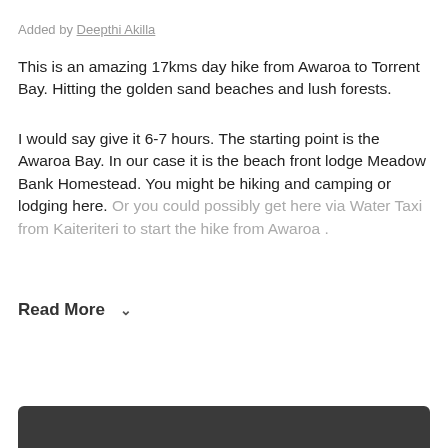Added by Deepthi Akilla
This is an amazing 17kms day hike from Awaroa to Torrent Bay. Hitting the golden sand beaches and lush forests.
I would say give it 6-7 hours. The starting point is the Awaroa Bay. In our case it is the beach front lodge Meadow Bank Homestead. You might be hiking and camping or lodging here. Or you could possibly get here via Water Taxi from Kaiteriteri to start the hike from Awaroa .
Read More ▾
[Figure (other): Dark rounded bar/banner at the bottom of the page]